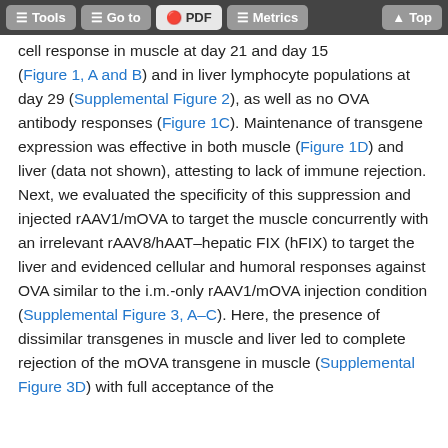Tools | Go to | PDF | Metrics | Top
cell response in muscle at day 21 and day 15 (Figure 1, A and B) and in liver lymphocyte populations at day 29 (Supplemental Figure 2), as well as no OVA antibody responses (Figure 1C). Maintenance of transgene expression was effective in both muscle (Figure 1D) and liver (data not shown), attesting to lack of immune rejection. Next, we evaluated the specificity of this suppression and injected rAAV1/mOVA to target the muscle concurrently with an irrelevant rAAV8/hAAT–hepatic FIX (hFIX) to target the liver and evidenced cellular and humoral responses against OVA similar to the i.m.-only rAAV1/mOVA injection condition (Supplemental Figure 3, A–C). Here, the presence of dissimilar transgenes in muscle and liver led to complete rejection of the mOVA transgene in muscle (Supplemental Figure 3D) with full acceptance of the